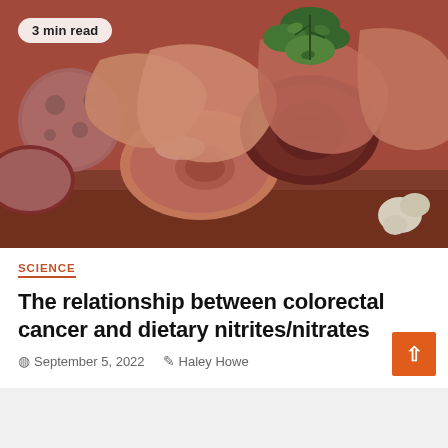[Figure (photo): Close-up photo of rolled deli meats and charcuterie including prosciutto and salami on a wooden board, with fresh herbs (thyme) on top. A '3 min read' badge is overlaid on the top-left corner.]
SCIENCE
The relationship between colorectal cancer and dietary nitrites/nitrates
September 5, 2022   Haley Howe